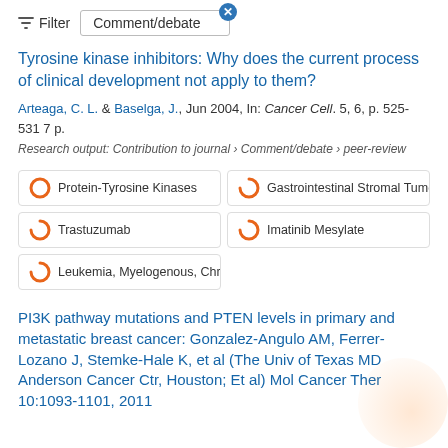Filter   Comment/debate
Tyrosine kinase inhibitors: Why does the current process of clinical development not apply to them?
Arteaga, C. L. & Baselga, J., Jun 2004, In: Cancer Cell. 5, 6, p. 525-531 7 p.
Research output: Contribution to journal › Comment/debate › peer-review
Protein-Tyrosine Kinases
Gastrointestinal Stromal Tumors
Trastuzumab
Imatinib Mesylate
Leukemia, Myelogenous, Chro
PI3K pathway mutations and PTEN levels in primary and metastatic breast cancer: Gonzalez-Angulo AM, Ferrer-Lozano J, Stemke-Hale K, et al (The Univ of Texas MD Anderson Cancer Ctr, Houston; Et al) Mol Cancer Ther 10:1093-1101, 2011